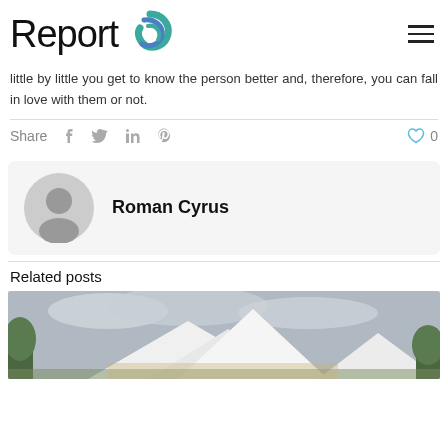Report
little by little you get to know the person better and, therefore, you can fall in love with them or not.
Share  0
Roman Cyrus
Related posts
[Figure (photo): Outdoor event with large white tent structure against a cloudy sky, surrounded by trees]